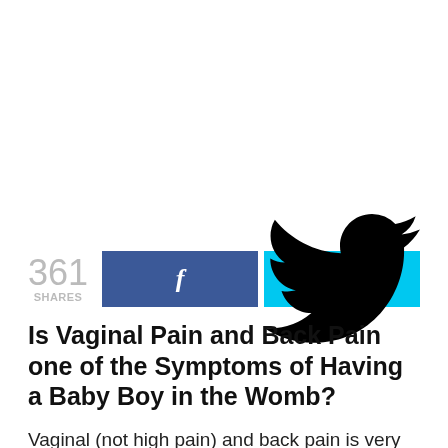[Figure (other): White space / advertisement area at top of page]
361 SHARES
Is Vaginal Pain and Back Pain one of the Symptoms of Having a Baby Boy in the Womb?
Vaginal (not high pain) and back pain is very common during pregnancy and does not affect the sex of the baby. So it's just a myth...